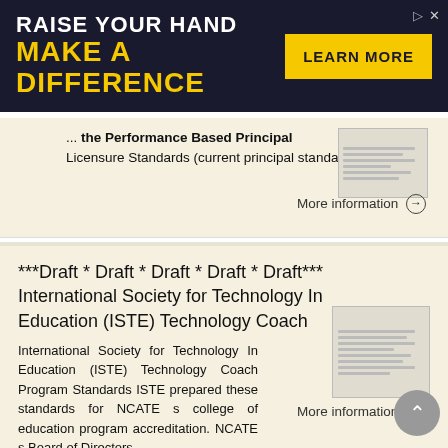[Figure (infographic): Advertisement banner: dark navy background, text 'RAISE YOUR HAND' in white bold, 'MAKE A DIFFERENCE' in yellow bold, yellow 'LEARN MORE' button on right]
the Performance Based Principal Licensure Standards (current principal standards)
More information →
***Draft * Draft * Draft * Draft * Draft*** International Society for Technology In Education (ISTE) Technology Coach
International Society for Technology In Education (ISTE) Technology Coach Program Standards ISTE prepared these standards for NCATE s college of education program accreditation. NCATE s Board of Directors
More information →